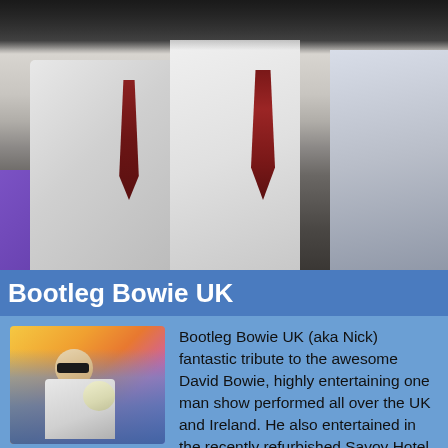[Figure (photo): Band photo showing musicians in white shirts and dark ties, with a purple shape visible in the lower left corner]
Bootleg Bowie UK
[Figure (photo): Performer (Nick) dressed as David Bowie in a white jacket with sunglasses, holding a microphone and a skull prop, against a colorful gradient background]
Bootleg Bowie UK (aka Nick) fantastic tribute to the awesome David Bowie, highly entertaining one man show performed all over the UK and Ireland. He also entertained in the recently refurbished Savoy Hotel in London to A-list celebrities and